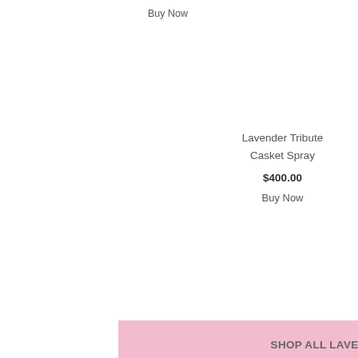Buy Now
Lavender Tribute Casket Spray
$400.00
Buy Now
SHOP ALL LAVENDER TRIBUTE COLLECTION